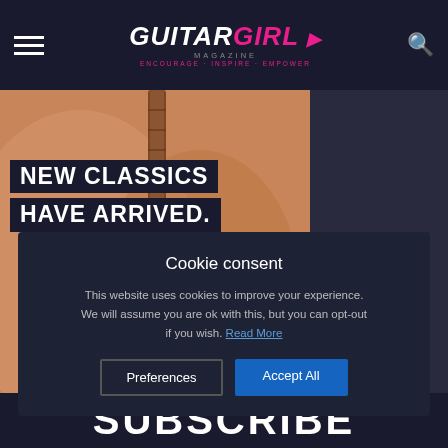Guitar Girl Magazine — Encourage. Inspire. Empower.
[Figure (illustration): Acoustic guitar close-up photo with warm brown tones, showing guitar body, soundhole, and bridge]
NEW CLASSICS HAVE ARRIVED.
Cookie consent
This website uses cookies to improve your experience. We will assume you are ok with this, but you can opt-out if you wish. Read More
Preferences
Accept All
SUBSCRIBE